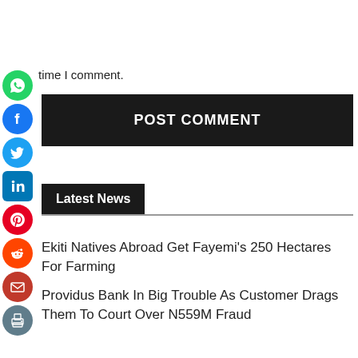time I comment.
[Figure (other): Social media share icons column on left: WhatsApp (green), Facebook (blue), Twitter (blue), LinkedIn (blue), Pinterest (red), Reddit (orange-red), Email (red), Print (blue-grey)]
POST COMMENT
Latest News
Ekiti Natives Abroad Get Fayemi’s 250 Hectares For Farming
Providus Bank In Big Trouble As Customer Drags Them To Court Over N559M Fraud